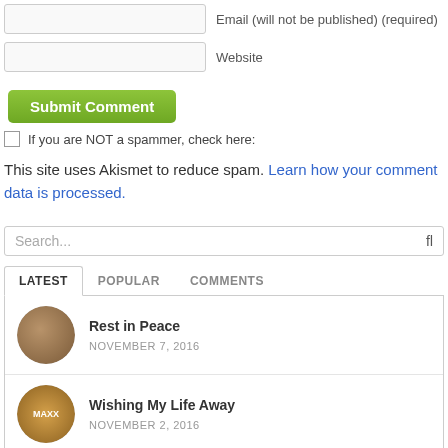Email (will not be published) (required)
Website
Submit Comment
If you are NOT a spammer, check here:
This site uses Akismet to reduce spam. Learn how your comment data is processed.
Search...
LATEST   POPULAR   COMMENTS
Rest in Peace
NOVEMBER 7, 2016
Wishing My Life Away
NOVEMBER 2, 2016